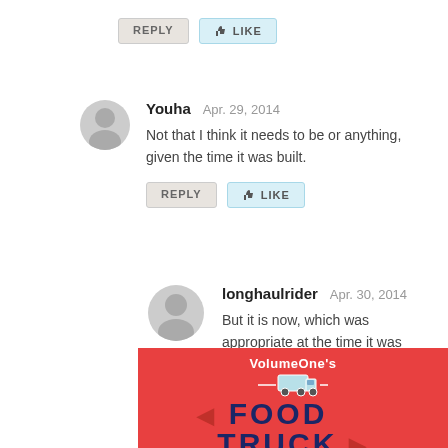[Figure (other): Reply and Like buttons at top]
[Figure (other): User avatar circle for Youha]
Youha  Apr. 29, 2014
Not that I think it needs to be or anything, given the time it was built.
[Figure (other): Reply and Like buttons for Youha comment]
[Figure (other): User avatar circle for longhaulrider]
longhaulrider  Apr. 30, 2014
But it is now, which was appropriate at the time it was renovated.
[Figure (other): Reply and Like buttons for longhaulrider comment]
[Figure (other): VolumeOne's Food Truck advertisement banner]